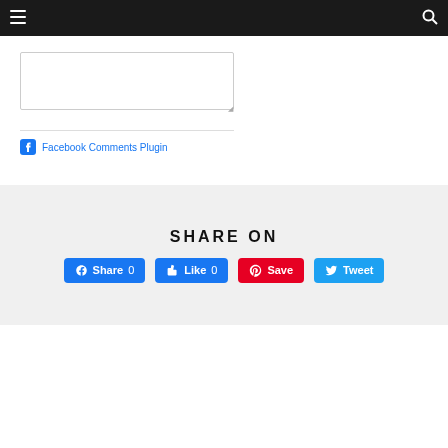☰  🔍
Add a comment...
Facebook Comments Plugin
SHARE ON
Share 0  Like 0  Save  Tweet